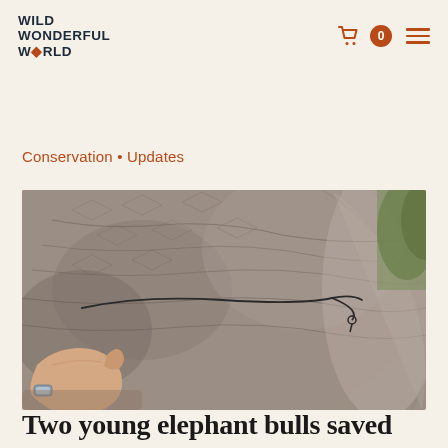WILD WONDERFUL WORLD
Conservation • Updates
[Figure (photo): Close-up photograph of an elephant's side/flank showing wrinkled grey skin with a snare wire being held/removed by a person's hand. A person's hand wearing a watch is visible at the bottom left pulling a thin wire snare away from the elephant's body.]
Two young elephant bulls saved